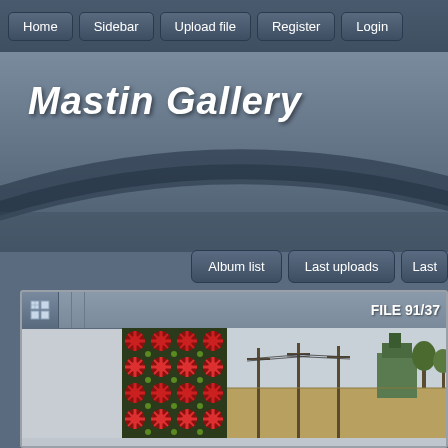Home | Sidebar | Upload file | Register | Login
Mastin Gallery
Album list  Last uploads  Last
FILE 91/37
[Figure (screenshot): Screenshot of Mastin Gallery web application showing navigation bar with Home, Sidebar, Upload file, Register, Login buttons; large italic bold title 'Mastin Gallery'; sub-navigation buttons Album list, Last uploads, Last; a file browser panel showing FILE 91/37 with two thumbnail images - a quilt fabric pattern and an outdoor rural scene]